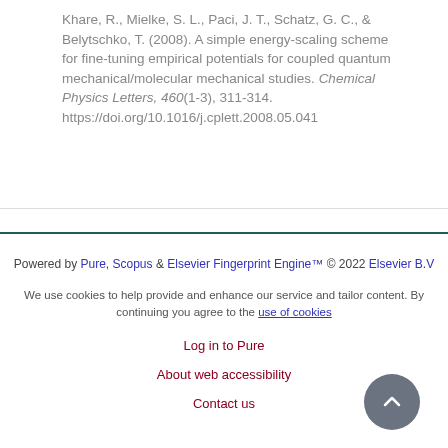Khare, R., Mielke, S. L., Paci, J. T., Schatz, G. C., & Belytschko, T. (2008). A simple energy-scaling scheme for fine-tuning empirical potentials for coupled quantum mechanical/molecular mechanical studies. Chemical Physics Letters, 460(1-3), 311-314. https://doi.org/10.1016/j.cplett.2008.05.041
Powered by Pure, Scopus & Elsevier Fingerprint Engine™ © 2022 Elsevier B.V
We use cookies to help provide and enhance our service and tailor content. By continuing you agree to the use of cookies
Log in to Pure
About web accessibility
Contact us